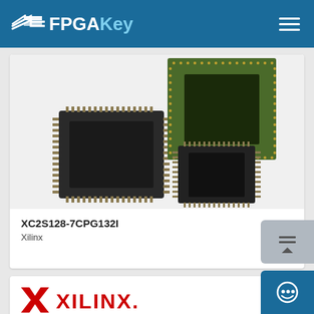FPGAKey
[Figure (photo): Three FPGA/CPLD chip packages: one large square QFP chip (black), one BGA chip (green with gold ball grid), and one smaller QFP chip (black), arranged on a light gray background]
XC2S128-7CPG132I
Xilinx
[Figure (logo): Xilinx logo with red X symbol and red XILINX. wordmark text]
[Figure (photo): Partially visible FPGA chip packages at the bottom of the second card]